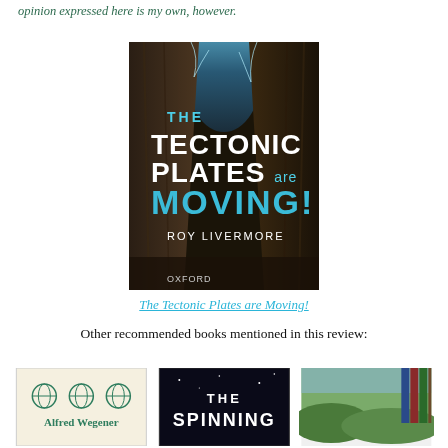opinion expressed here is my own, however.
[Figure (photo): Book cover of 'The Tectonic Plates are Moving!' by Roy Livermore, published by Oxford. Cover shows a rocky canyon or tectonic rift with blue ice/water, with bold white and cyan text.]
The Tectonic Plates are Moving!
Other recommended books mentioned in this review:
[Figure (photo): Three small book covers shown at the bottom: Alfred Wegener book (green text on cream background), The Spinning (dark cover), and a landscape/geology book with multiple volumes.]